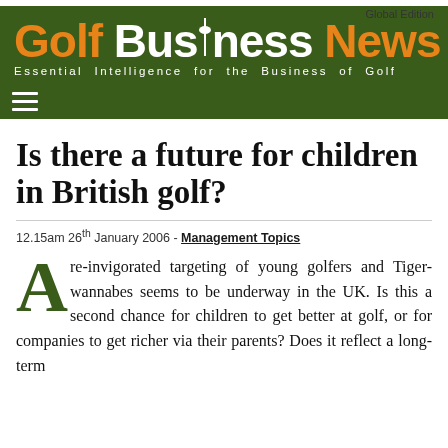Global Edition
Golf Business News – Essential Intelligence for the Business of Golf
Is there a future for children in British golf?
12.15am 26th January 2006 - Management Topics
A re-invigorated targeting of young golfers and Tiger-wannabes seems to be underway in the UK. Is this a second chance for children to get better at golf, or for companies to get richer via their parents? Does it reflect a long-term